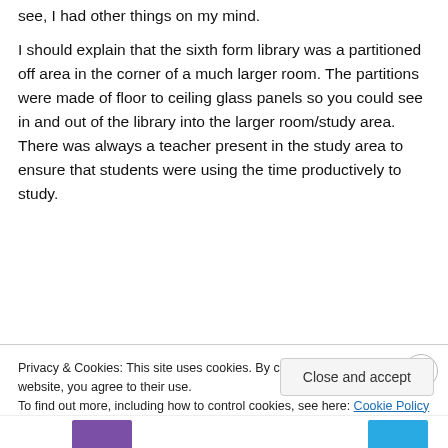see, I had other things on my mind.
I should explain that the sixth form library was a partitioned off area in the corner of a much larger room. The partitions were made of floor to ceiling glass panels so you could see in and out of the library into the larger room/study area. There was always a teacher present in the study area to ensure that students were using the time productively to study.
[Figure (other): Advertisement area with blurred text and an Apply button, plus a circular avatar photo of a man with glasses and beard]
Privacy & Cookies: This site uses cookies. By continuing to use this website, you agree to their use.
To find out more, including how to control cookies, see here: Cookie Policy
Close and accept